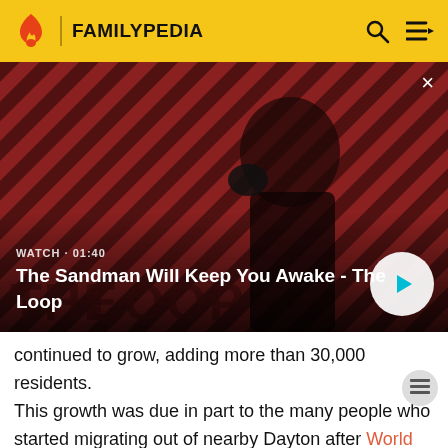FAMILYPEDIA
[Figure (screenshot): Video thumbnail showing The Sandman Will Keep You Awake - The Loop. Dark figure with a raven on shoulder against red and black diagonal striped background. Shows WATCH · 01:40 label and play button.]
continued to grow, adding more than 30,000 residents. This growth was due in part to the many people who started migrating out of nearby Dayton after World War Since the 1980s, Kettering has seen a slow decline in population because of an aging population and loss of